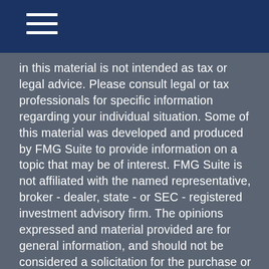in this material is not intended as tax or legal advice. Please consult legal or tax professionals for specific information regarding your individual situation. Some of this material was developed and produced by FMG Suite to provide information on a topic that may be of interest. FMG Suite is not affiliated with the named representative, broker - dealer, state - or SEC - registered investment advisory firm. The opinions expressed and material provided are for general information, and should not be considered a solicitation for the purchase or sale of any security.
We take protecting your data and privacy very seriously. As of January 1, 2020 the California